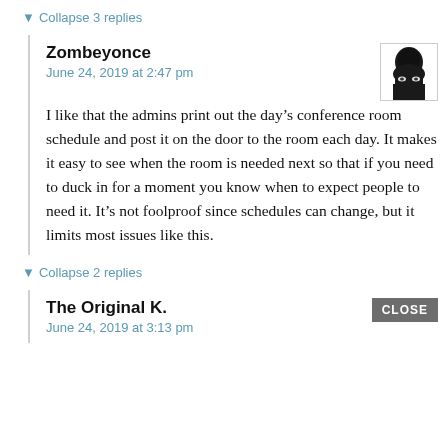▼ Collapse 3 replies
Zombeyonce
June 24, 2019 at 2:47 pm
I like that the admins print out the day's conference room schedule and post it on the door to the room each day. It makes it easy to see when the room is needed next so that if you need to duck in for a moment you know when to expect people to need it. It's not foolproof since schedules can change, but it limits most issues like this.
▼ Collapse 2 replies
The Original K.
June 24, 2019 at 3:13 pm
CLOSE